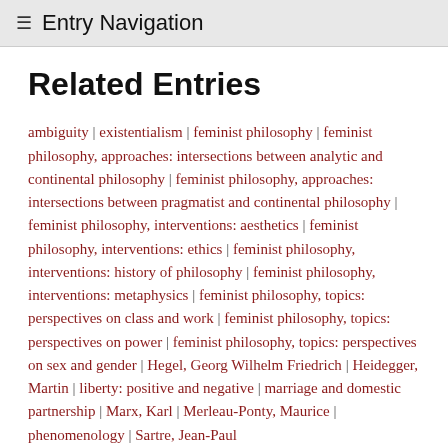≡ Entry Navigation
Related Entries
ambiguity | existentialism | feminist philosophy | feminist philosophy, approaches: intersections between analytic and continental philosophy | feminist philosophy, approaches: intersections between pragmatist and continental philosophy | feminist philosophy, interventions: aesthetics | feminist philosophy, interventions: ethics | feminist philosophy, interventions: history of philosophy | feminist philosophy, interventions: metaphysics | feminist philosophy, topics: perspectives on class and work | feminist philosophy, topics: perspectives on power | feminist philosophy, topics: perspectives on sex and gender | Hegel, Georg Wilhelm Friedrich | Heidegger, Martin | liberty: positive and negative | marriage and domestic partnership | Marx, Karl | Merleau-Ponty, Maurice | phenomenology | Sartre, Jean-Paul